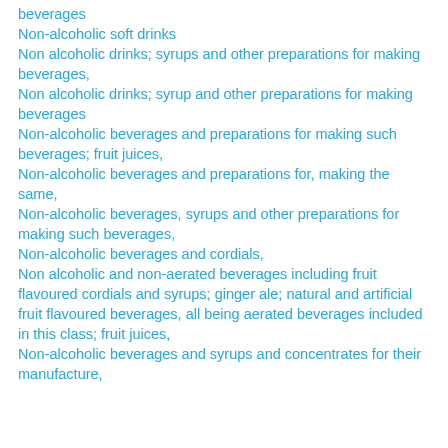beverages
Non-alcoholic soft drinks
Non alcoholic drinks; syrups and other preparations for making beverages,
Non alcoholic drinks; syrup and other preparations for making beverages
Non-alcoholic beverages and preparations for making such beverages; fruit juices,
Non-alcoholic beverages and preparations for, making the same,
Non-alcoholic beverages, syrups and other preparations for making such beverages,
Non-alcoholic beverages and cordials,
Non alcoholic and non-aerated beverages including fruit flavoured cordials and syrups; ginger ale; natural and artificial fruit flavoured beverages, all being aerated beverages included in this class; fruit juices,
Non-alcoholic beverages and syrups and concentrates for their manufacture,